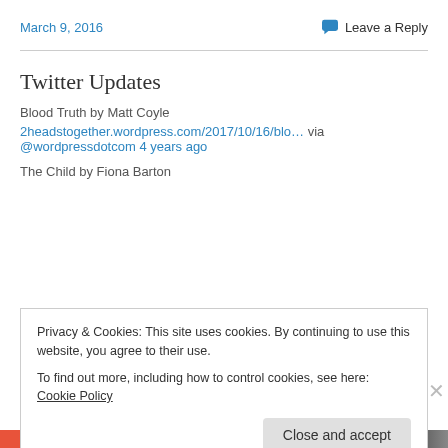March 9, 2016
Leave a Reply
Twitter Updates
Blood Truth by Matt Coyle
2headstogether.wordpress.com/2017/10/16/blo… via @wordpressdotcom 4 years ago
The Child by Fiona Barton
Privacy & Cookies: This site uses cookies. By continuing to use this website, you agree to their use. To find out more, including how to control cookies, see here: Cookie Policy
Close and accept